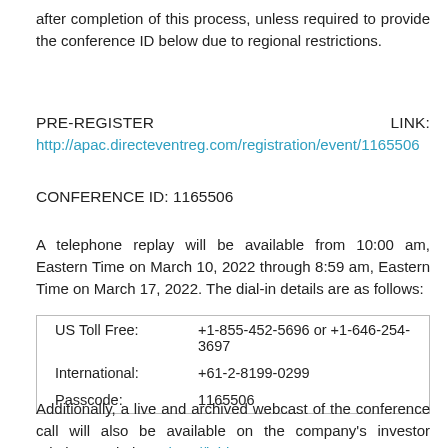after completion of this process, unless required to provide the conference ID below due to regional restrictions.
PRE-REGISTER                                               LINK:
http://apac.directeventreg.com/registration/event/1165506
CONFERENCE ID: 1165506
A telephone replay will be available from 10:00 am, Eastern Time on March 10, 2022 through 8:59 am, Eastern Time on March 17, 2022. The dial-in details are as follows:
| US Toll Free: | +1-855-452-5696 or +1-646-254-3697 |
| International: | +61-2-8199-0299 |
| Passcode: | 1165506 |
Additionally, a live and archived webcast of the conference call will also be available on the company's investor relations website at http://ir.id.com